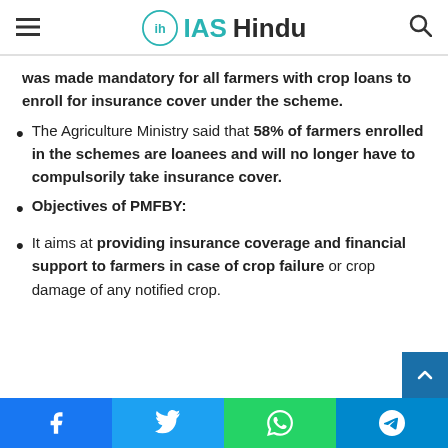IASHindu
was made mandatory for all farmers with crop loans to enroll for insurance cover under the scheme.
The Agriculture Ministry said that 58% of farmers enrolled in the schemes are loanees and will no longer have to compulsorily take insurance cover.
Objectives of PMFBY:
It aims at providing insurance coverage and financial support to farmers in case of crop failure or crop damage of any notified crop.
Facebook | Twitter | WhatsApp | Telegram